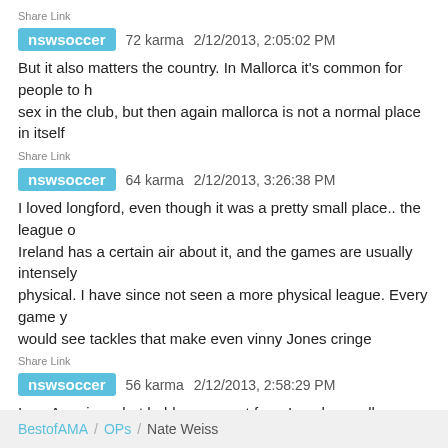Share Link
nswsoccer   72 karma   2/12/2013, 2:05:02 PM
But it also matters the country. In Mallorca it's common for people to have sex in the club, but then again mallorca is not a normal place in itself
Share Link
nswsoccer   64 karma   2/12/2013, 3:26:38 PM
I loved longford, even though it was a pretty small place.. the league of Ireland has a certain air about it, and the games are usually intensely physical. I have since not seen a more physical league. Every game you would see tackles that make even vinny Jones cringe
Share Link
nswsoccer   56 karma   2/12/2013, 2:58:29 PM
I am American, but hold a passport from Israel as well.... USA- Dempsey Israel-Benayoun
Share Link
BestofAMA / OPs / Nate Weiss